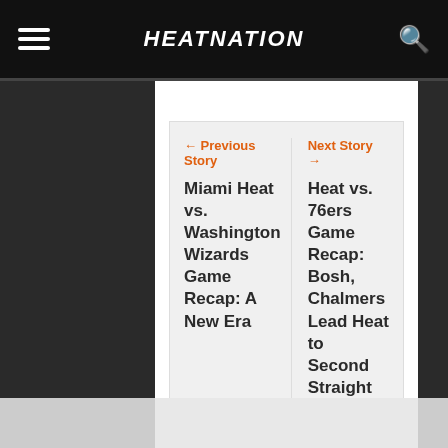HEATNATION
← Previous Story
Miami Heat vs. Washington Wizards Game Recap: A New Era
Next Story →
Heat vs. 76ers Game Recap: Bosh, Chalmers Lead Heat to Second Straight Victory